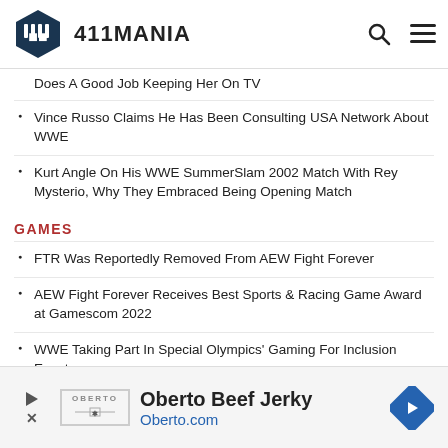411MANIA
Does A Good Job Keeping Her On TV
Vince Russo Claims He Has Been Consulting USA Network About WWE
Kurt Angle On His WWE SummerSlam 2002 Match With Rey Mysterio, Why They Embraced Being Opening Match
GAMES
FTR Was Reportedly Removed From AEW Fight Forever
AEW Fight Forever Receives Best Sports & Racing Game Award at Gamescom 2022
WWE Taking Part In Special Olympics' Gaming For Inclusion Event
More In-Game Footage Revealed For AEW Fight Forever
[Figure (other): Oberto Beef Jerky advertisement banner with logo, Oberto.com URL, and blue diamond navigation icon]